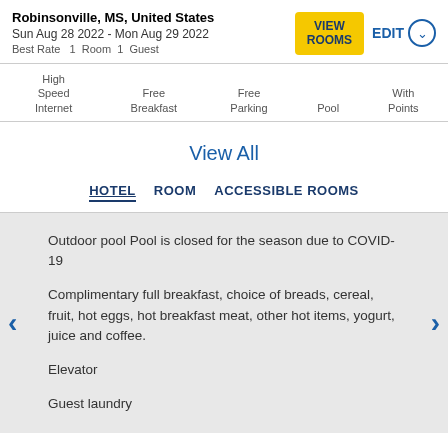Robinsonville, MS, United States
Sun Aug 28 2022 - Mon Aug 29 2022
Best Rate   1  Room  1  Guest
High Speed Internet   Free Breakfast   Free Parking   Pool   With Points
View All
HOTEL   ROOM   ACCESSIBLE ROOMS
Outdoor pool Pool is closed for the season due to COVID-19
Complimentary full breakfast, choice of breads, cereal, fruit, hot eggs, hot breakfast meat, other hot items, yogurt, juice and coffee.
Elevator
Guest laundry